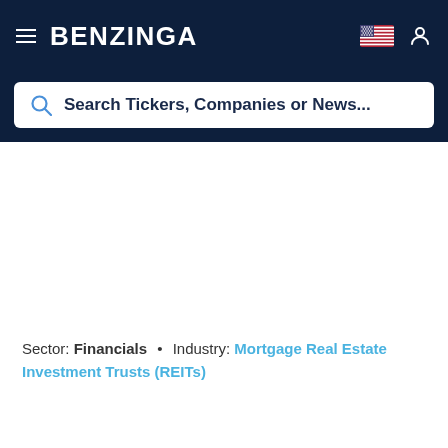BENZINGA
Search Tickers, Companies or News...
Sector: Financials • Industry: Mortgage Real Estate Investment Trusts (REITs)